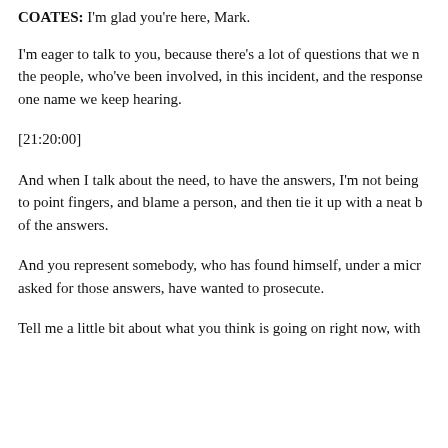COATES: I'm glad you're here, Mark.
I'm eager to talk to you, because there's a lot of questions that we need the people, who've been involved, in this incident, and the response— one name we keep hearing.
[21:20:00]
And when I talk about the need, to have the answers, I'm not being to point fingers, and blame a person, and then tie it up with a neat b of the answers.
And you represent somebody, who has found himself, under a micr asked for those answers, have wanted to prosecute.
Tell me a little bit about what you think is going on right now, with